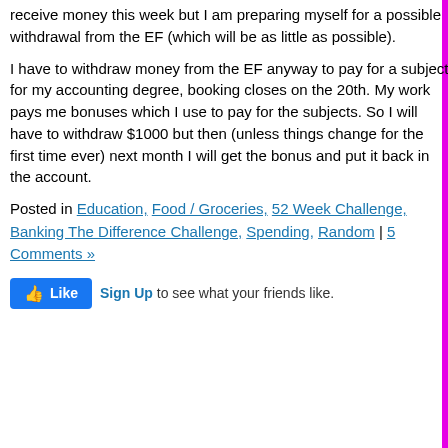receive money this week but I am preparing myself for a possible withdrawal from the EF (which will be as little as possible).
I have to withdraw money from the EF anyway to pay for a subject for my accounting degree, booking closes on the 20th. My work pays me bonuses which I use to pay for the subjects. So I will have to withdraw $1000 but then (unless things change for the first time ever) next month I will get the bonus and put it back in the account.
Posted in Education, Food / Groceries, 52 Week Challenge, Banking The Difference Challenge, Spending, Random | 5 Comments »
[Figure (other): Facebook Like button widget with thumbs up icon and 'Sign Up to see what your friends like.' text]